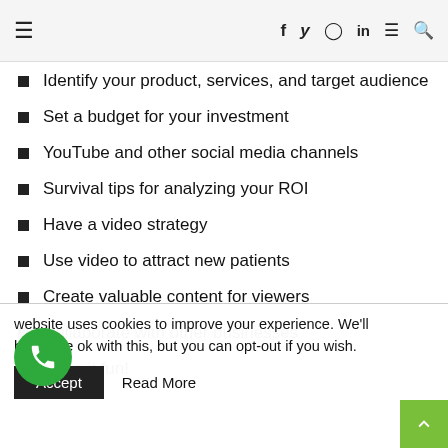≡  f  𝕥  ⊙  in  ≡  🔍
Identify your product, services, and target audience
Set a budget for your investment
YouTube and other social media channels
Survival tips for analyzing your ROI
Have a video strategy
Use video to attract new patients
Create valuable content for viewers
Collaborate with other businesses
Keep it fun!
website uses cookies to improve your experience. We'll
he you're ok with this, but you can opt-out if you wish.